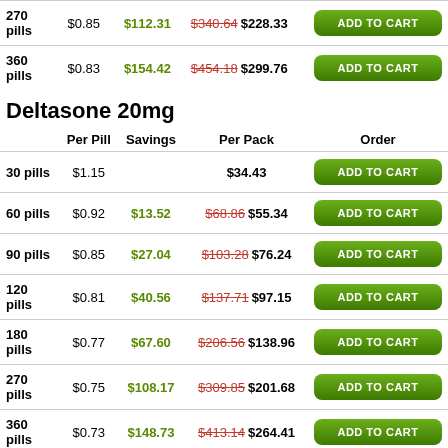|  | Per Pill | Savings | Per Pack | Order |
| --- | --- | --- | --- | --- |
| 270 pills | $0.85 | $112.31 | $340.64 $228.33 | ADD TO CART |
| 360 pills | $0.83 | $154.42 | $454.18 $299.76 | ADD TO CART |
Deltasone 20mg
|  | Per Pill | Savings | Per Pack | Order |
| --- | --- | --- | --- | --- |
| 30 pills | $1.15 |  | $34.43 | ADD TO CART |
| 60 pills | $0.92 | $13.52 | $68.86 $55.34 | ADD TO CART |
| 90 pills | $0.85 | $27.04 | $103.28 $76.24 | ADD TO CART |
| 120 pills | $0.81 | $40.56 | $137.71 $97.15 | ADD TO CART |
| 180 pills | $0.77 | $67.60 | $206.56 $138.96 | ADD TO CART |
| 270 pills | $0.75 | $108.17 | $309.85 $201.68 | ADD TO CART |
| 360 pills | $0.73 | $148.73 | $413.14 $264.41 | ADD TO CART |
Deltasone 10mg